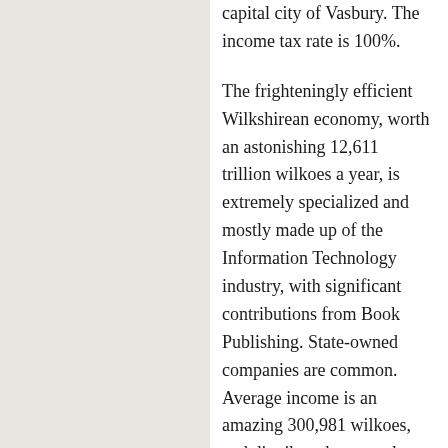capital city of Vasbury. The income tax rate is 100%.
The frighteningly efficient Wilkshirean economy, worth an astonishing 12,611 trillion wilkoes a year, is extremely specialized and mostly made up of the Information Technology industry, with significant contributions from Book Publishing. State-owned companies are common. Average income is an amazing 300,981 wilkoes, and distributed extremely evenly, with practically no difference between the